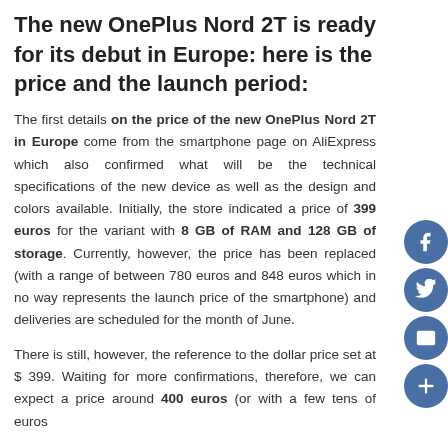The new OnePlus Nord 2T is ready for its debut in Europe: here is the price and the launch period:
The first details on the price of the new OnePlus Nord 2T in Europe come from the smartphone page on AliExpress which also confirmed what will be the technical specifications of the new device as well as the design and colors available. Initially, the store indicated a price of 399 euros for the variant with 8 GB of RAM and 128 GB of storage. Currently, however, the price has been replaced (with a range of between 780 euros and 848 euros which in no way represents the launch price of the smartphone) and deliveries are scheduled for the month of June.
There is still, however, the reference to the dollar price set at $ 399. Waiting for more confirmations, therefore, we can expect a price around 400 euros (or with a few tens of euros